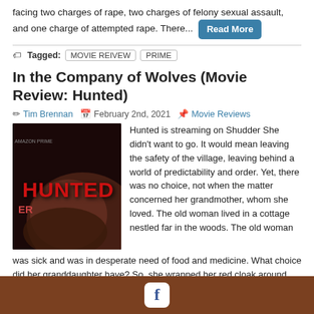facing two charges of rape, two charges of felony sexual assault, and one charge of attempted rape. There... [Read More]
Tagged: MOVIE REIVEW  PRIME
In the Company of Wolves (Movie Review: Hunted)
Tim Brennan  February 2nd, 2021  Movie Reviews
[Figure (photo): Movie poster for HUNTED showing dark red text on dark background with partial face visible]
Hunted is streaming on Shudder She didn't want to go. It would mean leaving the safety of the village, leaving behind a world of predictability and order. Yet, there was no choice, not when the matter concerned her grandmother, whom she loved. The old woman lived in a cottage nestled far in the woods. The old woman was sick and was in desperate need of food and medicine. What choice did her granddaughter have? So, she wrapped her red cloak around herself tightly and took the first tentative steps into the
[Figure (logo): Facebook logo icon on brown/dark orange bar at bottom of page]